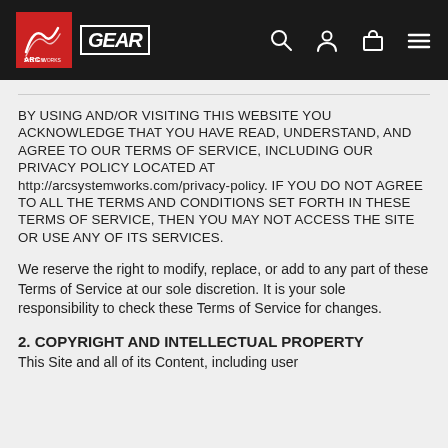Arc System Works Gear — navigation header with logo, search, account, cart, and menu icons
BY USING AND/OR VISITING THIS WEBSITE YOU ACKNOWLEDGE THAT YOU HAVE READ, UNDERSTAND, AND AGREE TO OUR TERMS OF SERVICE, INCLUDING OUR PRIVACY POLICY LOCATED AT http://arcsystemworks.com/privacy-policy. IF YOU DO NOT AGREE TO ALL THE TERMS AND CONDITIONS SET FORTH IN THESE TERMS OF SERVICE, THEN YOU MAY NOT ACCESS THE SITE OR USE ANY OF ITS SERVICES.
We reserve the right to modify, replace, or add to any part of these Terms of Service at our sole discretion. It is your sole responsibility to check these Terms of Service for changes.
2. COPYRIGHT AND INTELLECTUAL PROPERTY
This Site and all of its Content, including user